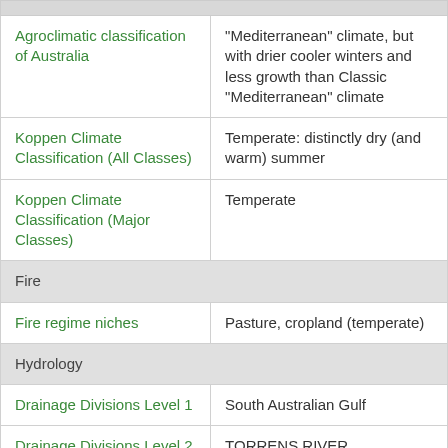| Agroclimatic classification of Australia | "Mediterranean" climate, but with drier cooler winters and less growth than Classic "Mediterranean" climate |
| Koppen Climate Classification (All Classes) | Temperate: distinctly dry (and warm) summer |
| Koppen Climate Classification (Major Classes) | Temperate |
| Fire |  |
| Fire regime niches | Pasture, cropland (temperate) |
| Hydrology |  |
| Drainage Divisions Level 1 | South Australian Gulf |
| Drainage Divisions Level 2 | TORRENS RIVER |
| River Regions | TORRENS RIVER |
| Marine |  |
| Marine Ecoregions of the | South Australian Gulfs |